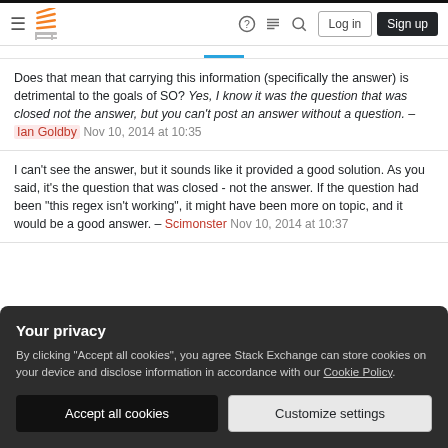Stack Overflow navigation bar with hamburger menu, logo, help, chat, search icons, Log in and Sign up buttons
Does that mean that carrying this information (specifically the answer) is detrimental to the goals of SO? Yes, I know it was the question that was closed not the answer, but you can't post an answer without a question. – Ian Goldby Nov 10, 2014 at 10:35
I can't see the answer, but it sounds like it provided a good solution. As you said, it's the question that was closed - not the answer. If the question had been "this regex isn't working", it might have been more on topic, and it would be a good answer. – Scimonster Nov 10, 2014 at 10:37
Your privacy
By clicking "Accept all cookies", you agree Stack Exchange can store cookies on your device and disclose information in accordance with our Cookie Policy.